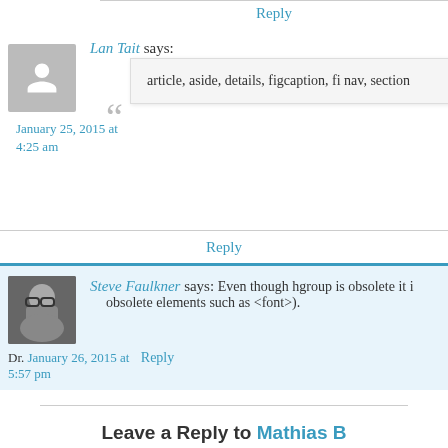Reply
Lan Tait says:
article, aside, details, figcaption, fi nav, section
January 25, 2015 at 4:25 am
Isn't hgroup dead? I was just thinking
Reply
Steve Faulkner says: Even though hgroup is obsolete it i obsolete elements such as <font>.
Dr. January 26, 2015 at 5:57 pm
Reply
Leave a Reply to Mathias B